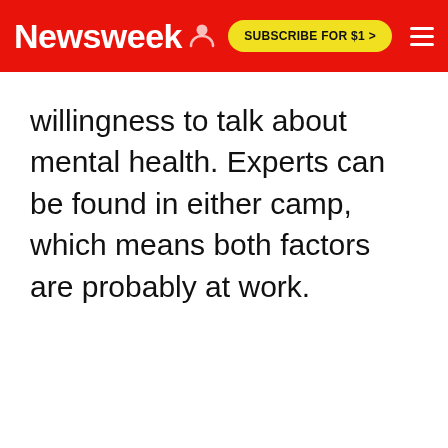Newsweek | SUBSCRIBE FOR $1 >
willingness to talk about mental health. Experts can be found in either camp, which means both factors are probably at work.